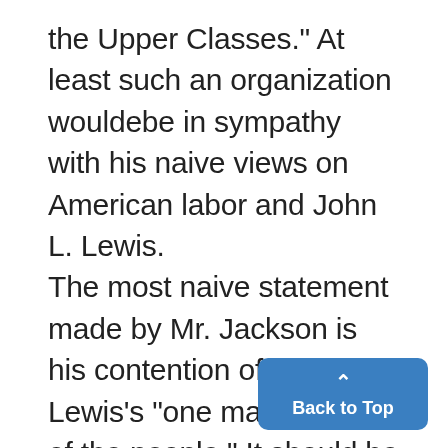the Upper Classes." At least such an organization wouldebe in sympathy with his naive views on American labor and John L. Lewis. The most naive statement made by Mr. Jackson is his contention of Mr. Lewis's "one man defiance of the people." It should be no strain on the mental ability of any student to realize that Lewis holds only the power that the UMW grants him as its chief representative. It is more than ob-
[Figure (other): Back to Top button — a blue rounded rectangle with an upward caret arrow and the text 'Back to Top']